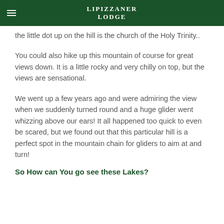LIPIZZANER LODGE
the little dot up on the hill is the church of the Holy Trinity..
You could also hike up this mountain of course for great views down. It is a little rocky and very chilly on top, but the views are sensational.
We went up a few years ago and were admiring the view when we suddenly turned round and a huge glider went whizzing above our ears! It all happened too quick to even be scared, but we found out that this particular hill is a perfect spot in the mountain chain for gliders to aim at and turn!
So How can You go see these Lakes?